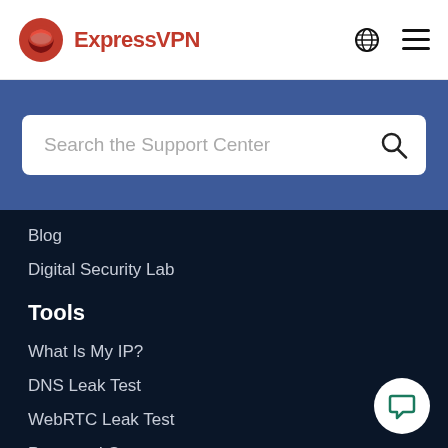[Figure (logo): ExpressVPN logo with red stylized e icon and red ExpressVPN wordmark text]
Search the Support Center
Blog
Digital Security Lab
Tools
What Is My IP?
DNS Leak Test
WebRTC Leak Test
Password Generator
Log4j Vulnerability (VPN Protection)